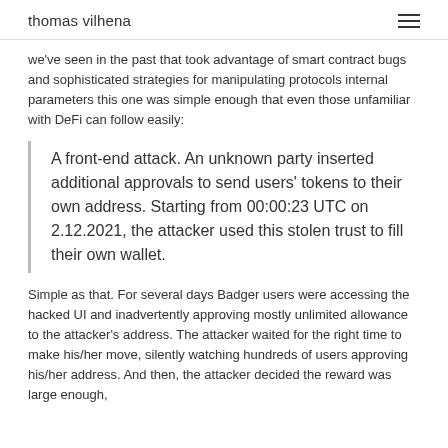thomas vilhena
we've seen in the past that took advantage of smart contract bugs and sophisticated strategies for manipulating protocols internal parameters this one was simple enough that even those unfamiliar with DeFi can follow easily:
A front-end attack. An unknown party inserted additional approvals to send users' tokens to their own address. Starting from 00:00:23 UTC on 2.12.2021, the attacker used this stolen trust to fill their own wallet.
Simple as that. For several days Badger users were accessing the hacked UI and inadvertently approving mostly unlimited allowance to the attacker's address. The attacker waited for the right time to make his/her move, silently watching hundreds of users approving his/her address. And then, the attacker decided the reward was large enough,